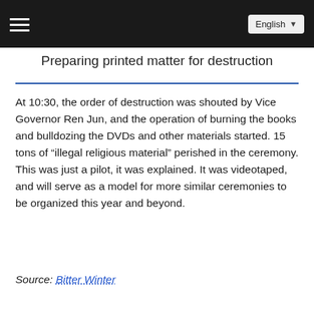English
Preparing printed matter for destruction
At 10:30, the order of destruction was shouted by Vice Governor Ren Jun, and the operation of burning the books and bulldozing the DVDs and other materials started. 15 tons of “illegal religious material” perished in the ceremony.
This was just a pilot, it was explained. It was videotaped, and will serve as a model for more similar ceremonies to be organized this year and beyond.
Source: Bitter Winter